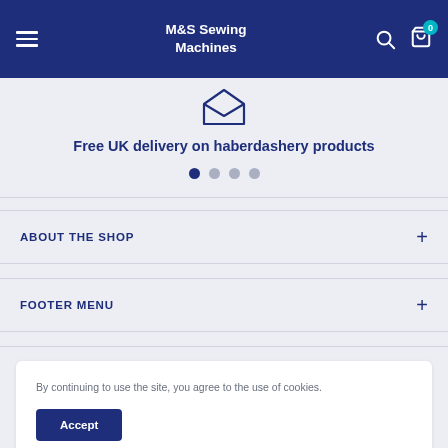M&S Sewing Machines
Free UK delivery on haberdashery products
ABOUT THE SHOP
FOOTER MENU
By continuing to use the site, you agree to the use of cookies.
Accept